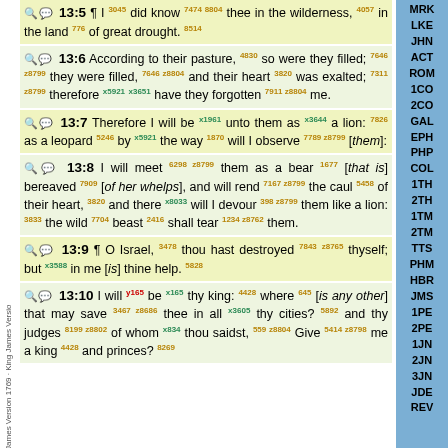13:5 I did know thee in the wilderness, in the land of great drought.
13:6 According to their pasture, so were they filled; they were filled, and their heart was exalted; therefore have they forgotten me.
13:7 Therefore I will be unto them as a lion: as a leopard by the way will I observe [them]:
13:8 I will meet them as a bear [that is] bereaved [of her whelps], and will rend the caul of their heart, and there will I devour them like a lion: the wild beast shall tear them.
13:9 O Israel, thou hast destroyed thyself; but in me [is] thine help.
13:10 I will be thy king: where [is any other] that may save thee in all thy cities? and thy judges of whom thou saidst, Give me a king and princes?
MRK LKE JHN ACT ROM 1CO 2CO GAL EPH PHP COL 1TH 2TH 1TM 2TM TTS PHM HBR JMS 1PE 2PE 1JN 2JN 3JN JDE REV